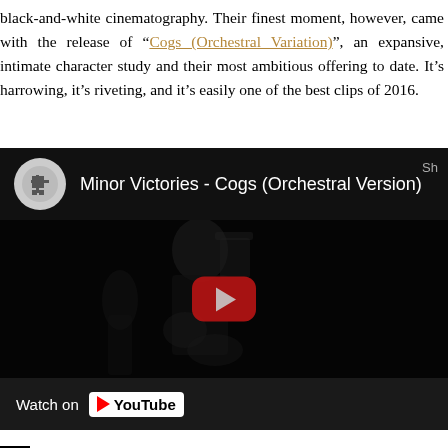black-and-white cinematography. Their finest moment, however, came with the release of "Cogs (Orchestral Variation)", an expansive, intimate character study and their most ambitious offering to date. It's harrowing, it's riveting, and it's easily one of the best clips of 2016.
[Figure (screenshot): Embedded YouTube video player showing 'Minor Victories - Cogs (Orchestral Version)' with a dark, near-black thumbnail featuring a silhouetted figure, a red play button in the center, and a 'Watch on YouTube' bar at the bottom.]